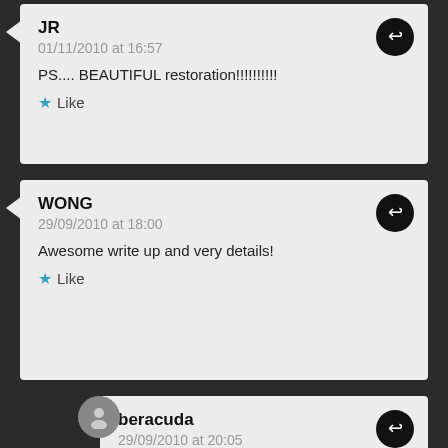JR
01/11/2010 at 16:57
PS.... BEAUTIFUL restoration!!!!!!!!!!
Like
WONG
29/09/2010 at 18:00
Awesome write up and very details!
Like
beracuda
29/09/2010 at 20:05
Thanks a lot! Your appreciation means much to